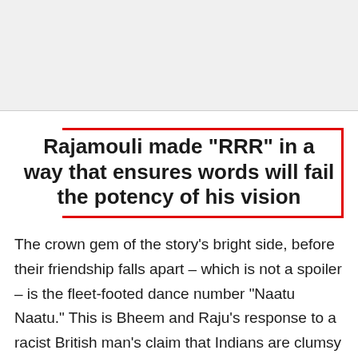Rajamouli made "RRR" in a way that ensures words will fail the potency of his vision
The crown gem of the story's bright side, before their friendship falls apart – which is not a spoiler – is the fleet-footed dance number "Naatu Naatu." This is Bheem and Raju's response to a racist British man's claim that Indians are clumsy and uncultured, demonstrated by skipping through a few Eurocentric